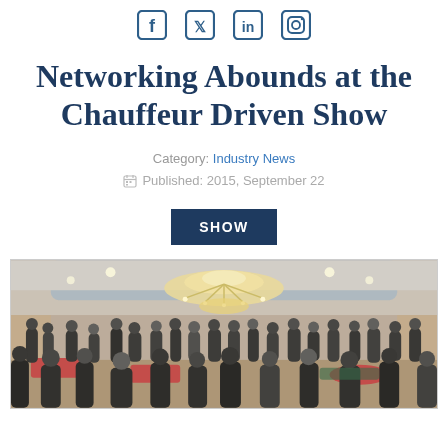[Figure (other): Social media icons: Facebook, Twitter, LinkedIn, Instagram]
Networking Abounds at the Chauffeur Driven Show
Category: Industry News
Published: 2015, September 22
SHOW
[Figure (photo): Interior of a large ballroom with chandeliers, people networking in formal attire]